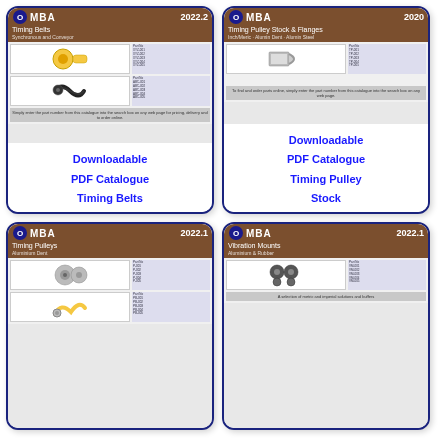[Figure (illustration): MBA 2022.2 Timing Belts downloadable PDF catalogue cover showing timing belts images and part number tables]
Downloadable PDF Catalogue Timing Belts
[Figure (illustration): MBA 2020 Timing Pulley Stock & Flanges downloadable PDF catalogue cover showing timing pulley images and part number tables]
Downloadable PDF Catalogue Timing Pulley Stock
[Figure (illustration): MBA 2022.1 Timing Pulleys downloadable PDF catalogue cover showing timing pulley images and part number tables]
[Figure (illustration): MBA 2022.1 Vibration Mounts downloadable PDF catalogue cover showing vibration mount images and part number tables]